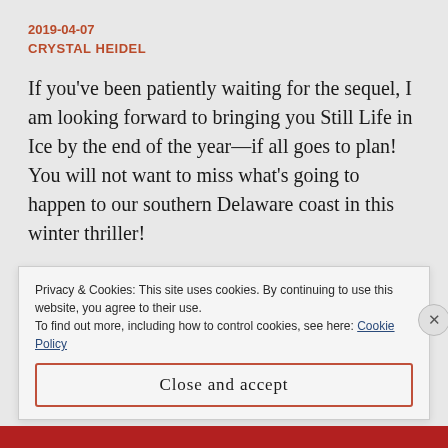2019-04-07
CRYSTAL HEIDEL
If you’ve been patiently waiting for the sequel, I am looking forward to bringing you Still Life in Ice by the end of the year—if all goes to plan! You will not want to miss what’s going to happen to our southern Delaware coast in this winter thriller!
Privacy & Cookies: This site uses cookies. By continuing to use this website, you agree to their use.
To find out more, including how to control cookies, see here: Cookie Policy
Close and accept